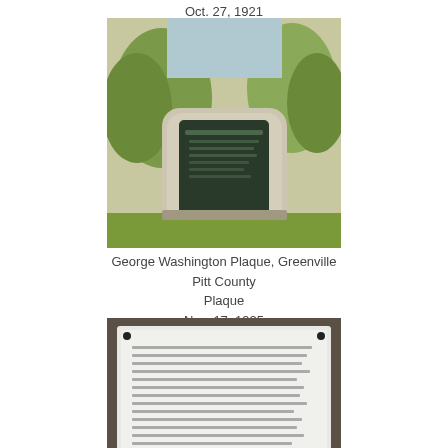Oct. 27, 1921
[Figure (photo): Photo of a stone monument with a dark metal plaque, George Washington Plaque in Greenville, Pitt County, surrounded by trees]
George Washington Plaque, Greenville
Pitt County
Plaque
Nov. 17, 1925
[Figure (photo): Photo of a white rectangular plaque with text mounted on a dark wall, Historic Events in Pasquotank County marker in Elizabeth City]
Historic Events in Pasquotank County, Elizabeth City
Pasquotank County
Plaque
None
[Figure (photo): Photo of dense green shrubbery or trees, partially visible at bottom of page]